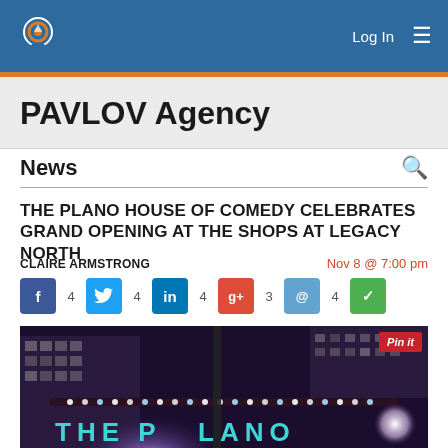PAVLOV Agency — Log In navigation header
PAVLOV Agency
News
THE PLANO HOUSE OF COMEDY CELEBRATES GRAND OPENING AT THE SHOPS AT LEGACY NORTH
CLAIRE ARMSTRONG   Nov 8 @ 7:00 pm
[Figure (infographic): Social sharing buttons row: Facebook (4), Twitter (4), LinkedIn (4), Google+ (3), Email (4), Checkmark green button]
[Figure (photo): Night photo of The Plano House of Comedy exterior with neon lights, showing 'THE PLANO' text, with a Pin it button overlay in top right corner]